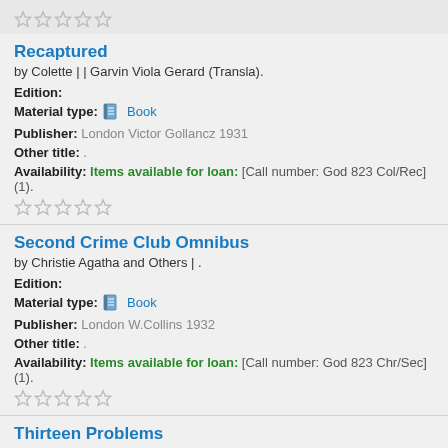[Figure (other): Five empty star rating icons at top of page]
Recaptured
by Colette | | Garvin Viola Gerard (Transla).
Edition:
Material type: [book icon] Book
Publisher: London Victor Gollancz 1931
Other title: .
Availability: Items available for loan: [Call number: God 823 Col/Rec] (1).
[Figure (other): Five empty star rating icons]
Second Crime Club Omnibus
by Christie Agatha and Others | .
Edition:
Material type: [book icon] Book
Publisher: London W.Collins 1932
Other title: .
Availability: Items available for loan: [Call number: God 823 Chr/Sec] (1).
[Figure (other): Five empty star rating icons]
Thirteen Problems